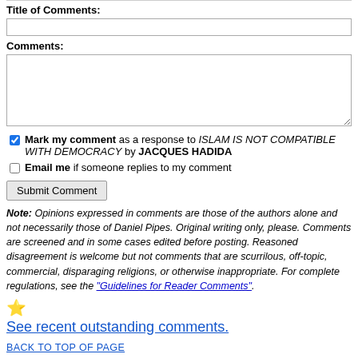Title of Comments:
Comments:
Mark my comment as a response to ISLAM IS NOT COMPATIBLE WITH DEMOCRACY by JACQUES HADIDA
Email me if someone replies to my comment
Submit Comment
Note: Opinions expressed in comments are those of the authors alone and not necessarily those of Daniel Pipes. Original writing only, please. Comments are screened and in some cases edited before posting. Reasoned disagreement is welcome but not comments that are scurrilous, off-topic, commercial, disparaging religions, or otherwise inappropriate. For complete regulations, see the "Guidelines for Reader Comments".
See recent outstanding comments.
BACK TO TOP OF PAGE